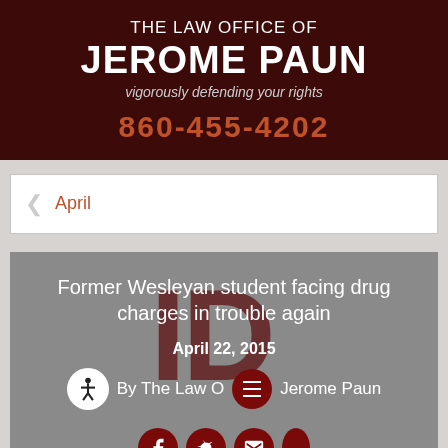THE LAW OFFICE OF JEROME PAUN vigorously defending your rights
860-455-4202
April
Former Wesleyan student facing drug charges in trouble again
April 22, 2015
By The Law Office of Jerome Paun